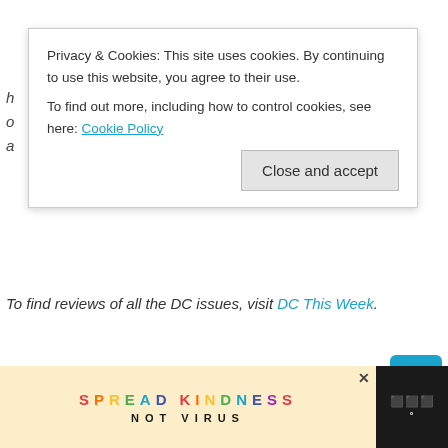Privacy & Cookies: This site uses cookies. By continuing to use this website, you agree to their use. To find out more, including how to control cookies, see here: Cookie Policy
Close and accept
To find reviews of all the DC issues, visit DC This Week.
[Figure (other): Bottom advertisement banner reading SPREAD KINDNESS NOT VIRUS with colorful letters on a light background, with a dark sidebar on the right]